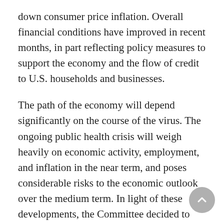down consumer price inflation. Overall financial conditions have improved in recent months, in part reflecting policy measures to support the economy and the flow of credit to U.S. households and businesses.
The path of the economy will depend significantly on the course of the virus. The ongoing public health crisis will weigh heavily on economic activity, employment, and inflation in the near term, and poses considerable risks to the economic outlook over the medium term. In light of these developments, the Committee decided to maintain the target range for the federal funds rate at 0 to 1/4 percent. The Committee expects to maintain this target range until it is confident that the economy has weathered recent events and is on track to achieve its maximum employment and price stability goals.